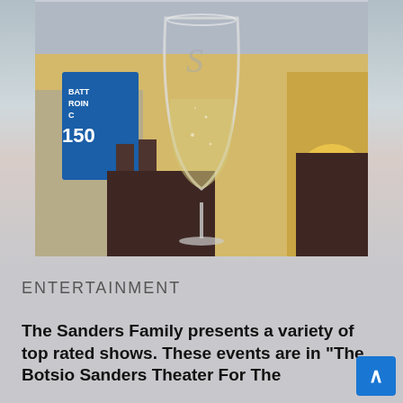[Figure (photo): A close-up photograph of a wine glass filled with white wine or champagne. In the background there is a blue sign with '150' text, yellow walls, dark furniture, and a lamp. The glass has an ornate 'S' etched on it.]
ENTERTAINMENT
The Sanders Family presents a variety of top rated shows. These events are in "The Botsio Sanders Theater For The...